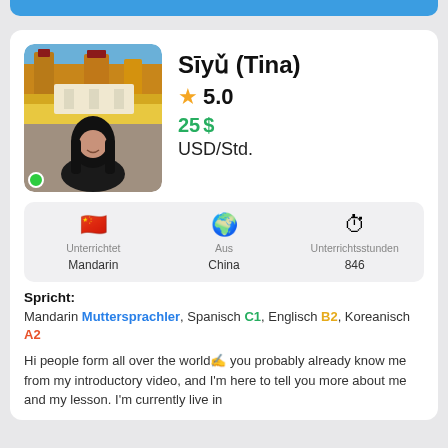[Figure (screenshot): Top blue button/banner at top of card, partially visible]
[Figure (photo): Profile photo of Siyu (Tina), a young woman with long dark hair standing in front of a colorful castle/palace (Pena Palace, Sintra). Green online indicator dot in bottom-left.]
Sīyǔ (Tina)
★ 5.0
25 $ USD/Std.
| Unterrichtet | Aus | Unterrichtsstunden |
| --- | --- | --- |
| Mandarin | China | 846 |
Spricht: Mandarin Muttersprachler, Spanisch C1, Englisch B2, Koreanisch A2
Hi people form all over the world✍ you probably already know me from my introductory video, and I'm here to tell you more about me and my lesson. I'm currently live in